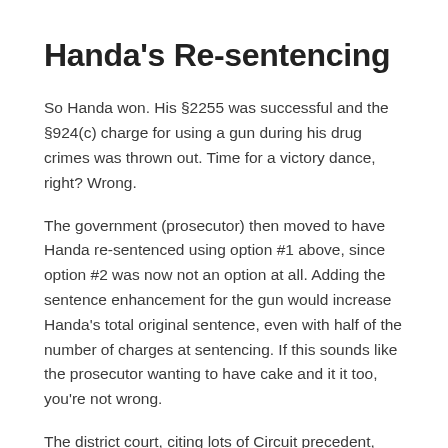Handa's Re-sentencing
So Handa won. His §2255 was successful and the §924(c) charge for using a gun during his drug crimes was thrown out. Time for a victory dance, right? Wrong.
The government (prosecutor) then moved to have Handa re-sentenced using option #1 above, since option #2 was now not an option at all. Adding the sentence enhancement for the gun would increase Handa's total original sentence, even with half of the number of charges at sentencing. If this sounds like the prosecutor wanting to have cake and it it too, you're not wrong.
The district court, citing lots of Circuit precedent, said it had no authority to increase the original sentence beyond what it already had sentenced Handa to. But